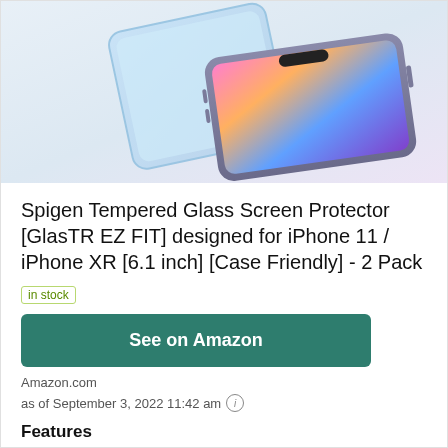[Figure (photo): Product photo of Spigen Tempered Glass Screen Protector and iPhone 11/XR device]
Spigen Tempered Glass Screen Protector [GlasTR EZ FIT] designed for iPhone 11 / iPhone XR [6.1 inch] [Case Friendly] - 2 Pack
in stock
See on Amazon
Amazon.com
as of September 3, 2022 11:42 am
Features
Tempered glass durability rated at 9H hardness